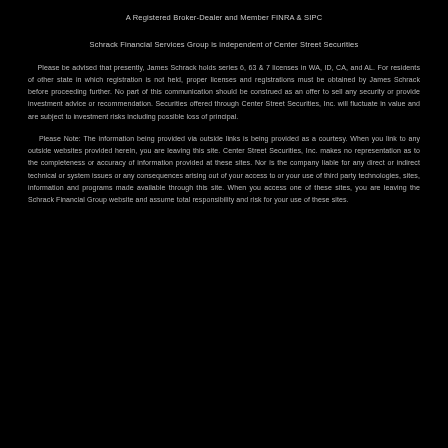A Registered Broker-Dealer and Member FINRA & SIPC
Schrack Financial Services Group is independent of Center Street Securities
Please be advised that presently, James Schrack holds series 6, 63 & 7 licenses in WA, ID, CA, and AL. For residents of other state in which registration is not held, proper licenses and registrations must be obtained by James Schrack before proceeding further. No part of this communication should be construed as an offer to sell any security or provide investment advice or recommendation. Securities offered through Center Street Securities, Inc. will fluctuate in value and are subject to investment risks including possible loss of principal.
Please Note: The information being provided via outside links is being provided as a courtesy. When you link to any outside websites provided herein, you are leaving this site. Center Street Securities, Inc. makes no representation as to the completeness or accuracy of information provided at these sites. Nor is the company liable for any direct or indirect technical or system issues or any consequences arising out of your access to or your use of third party technologies, sites, information and programs made available through this site. When you access one of these sites, you are leaving the Schrack Financial Group website and assume total responsibility and risk for your use of these sites.